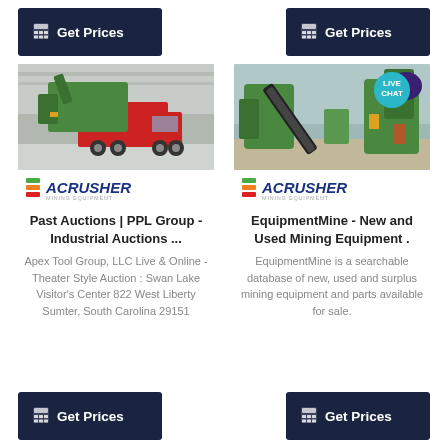[Figure (screenshot): Get Prices button (top left) with calculator icon on dark navy background]
[Figure (screenshot): Get Prices button (top right) with calculator icon on dark navy background]
[Figure (photo): Photo of a red truck carrying green mining equipment in an industrial warehouse, with ACRUSHER Mining Equipment logo at bottom]
[Figure (photo): Photo of green mining/crushing equipment outdoors with ACRUSHER Mining Equipment logo at bottom and LIVE CHAT badge in top right]
Past Auctions | PPL Group - Industrial Auctions ...
Apex Tool Group, LLC Live & Online - Theater Style Auction : Swan Lake Visitor's Center 822 West Liberty Sumter, South Carolina 29151
EquipmentMine - New and Used Mining Equipment .
EquipmentMine is a searchable database of new, used and surplus mining equipment and parts available for sale.
[Figure (screenshot): Get Prices button (bottom left) with calculator icon on dark navy background]
[Figure (screenshot): Get Prices button (bottom right) with calculator icon on dark navy background]